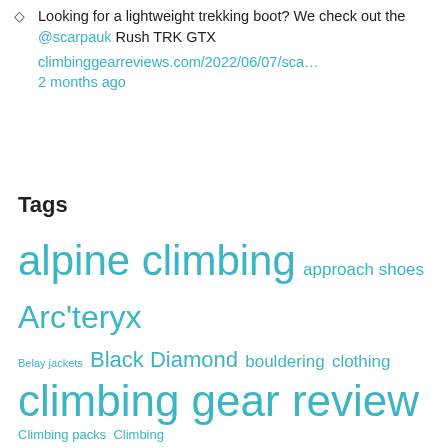Looking for a lightweight trekking boot? We check out the @scarpauk Rush TRK GTX climbinggearreviews.com/2022/06/07/sca… 2 months ago
Tags
alpine climbing approach shoes Arc'teryx Belay jackets Black Diamond bouldering clothing climbing gear review Climbing packs Climbing shoes DMM edelrid gear news Haglöfs ice climbing Ice climbing clothing Men's climbing clothing Mountain boots Patagonia rock climbing